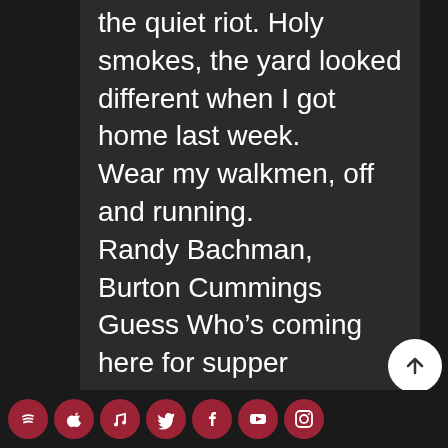the quiet riot. Holy smokes, the yard looked different when I got home last week.
Wear my walkmen, off and running.
Randy Bachman, Burton Cummings
Guess Who's coming here for supper
Johnny Burnette, Sir Charles Tupper
The future past stops making sense
Lucky Strikin' in the present tense
Joel
[Figure (infographic): Row of social media icons (Spotify, Apple, unknown, Twitter, Facebook, YouTube, Instagram) as white icons on dark red circular backgrounds, in a footer bar]